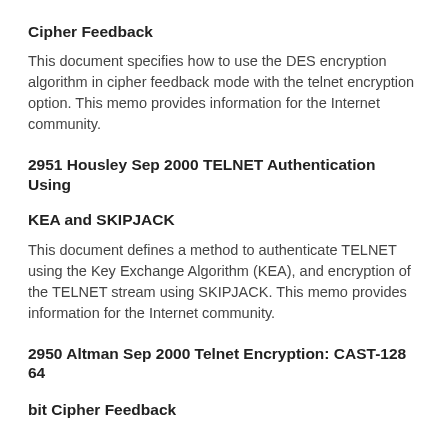Cipher Feedback
This document specifies how to use the DES encryption algorithm in cipher feedback mode with the telnet encryption option. This memo provides information for the Internet community.
2951 Housley Sep 2000 TELNET Authentication Using
KEA and SKIPJACK
This document defines a method to authenticate TELNET using the Key Exchange Algorithm (KEA), and encryption of the TELNET stream using SKIPJACK. This memo provides information for the Internet community.
2950 Altman Sep 2000 Telnet Encryption: CAST-128 64
bit Cipher Feedback